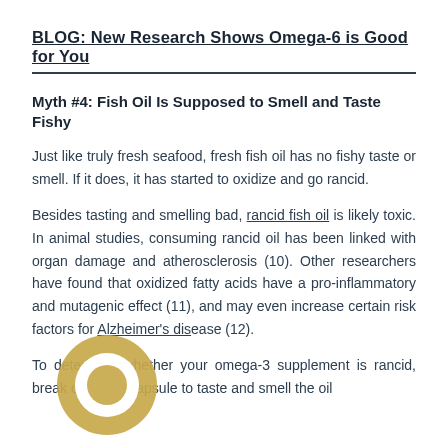BLOG: New Research Shows Omega-6 is Good for You
Myth #4: Fish Oil Is Supposed to Smell and Taste Fishy
Just like truly fresh seafood, fresh fish oil has no fishy taste or smell. If it does, it has started to oxidize and go rancid.
Besides tasting and smelling bad, rancid fish oil is likely toxic. In animal studies, consuming rancid oil has been linked with organ damage and atherosclerosis (10). Other researchers have found that oxidized fatty acids have a pro-inflammatory and mutagenic effect (11), and may even increase certain risk factors for Alzheimer's disease (12).
To determine whether your omega-3 supplement is rancid, break open the capsule to taste and smell the oil